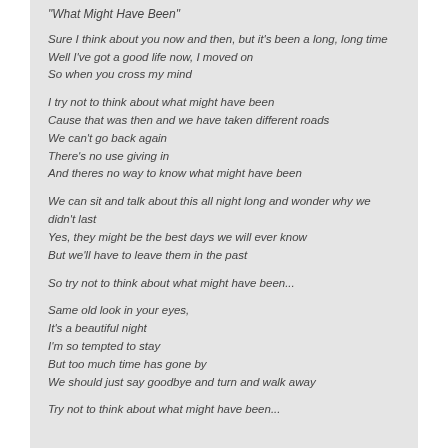"What Might Have Been"
Sure I think about you now and then, but it's been a long, long time
Well I've got a good life now, I moved on
So when you cross my mind
I try not to think about what might have been
Cause that was then and we have taken different roads
We can't go back again
There's no use giving in
And theres no way to know what might have been
We can sit and talk about this all night long and wonder why we didn't last
Yes, they might be the best days we will ever know
But we'll have to leave them in the past
So try not to think about what might have been...
Same old look in your eyes,
It's a beautiful night
I'm so tempted to stay
But too much time has gone by
We should just say goodbye and turn and walk away
Try not to think about what might have been...